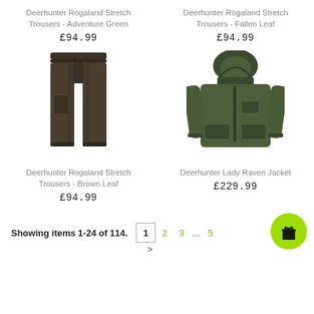Deerhunter Rogaland Stretch Trousers - Adventure Green
£94.99
Deerhunter Rogaland Stretch Trousers - Fallen Leaf
£94.99
[Figure (photo): Deerhunter Rogaland Stretch Trousers in Brown Leaf color, dark olive/brown cargo trousers displayed flat]
[Figure (photo): Deerhunter Lady Raven Jacket, dark olive green hooded women's jacket displayed on mannequin]
Deerhunter Rogaland Stretch Trousers - Brown Leaf
£94.99
Deerhunter Lady Raven Jacket
£229.99
Showing items 1-24 of 114.